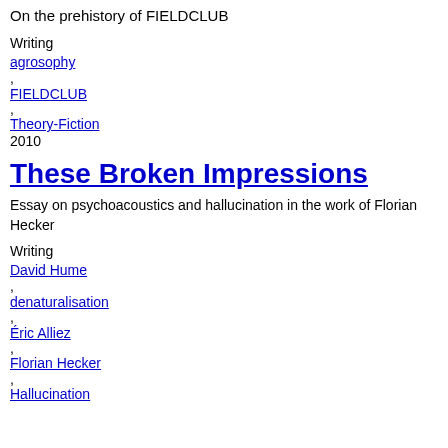On the prehistory of FIELDCLUB
Writing
agrosophy
FIELDCLUB
Theory-Fiction
2010
These Broken Impressions
Essay on psychoacoustics and hallucination in the work of Florian Hecker
Writing
David Hume
denaturalisation
Éric Alliez
Florian Hecker
Hallucination